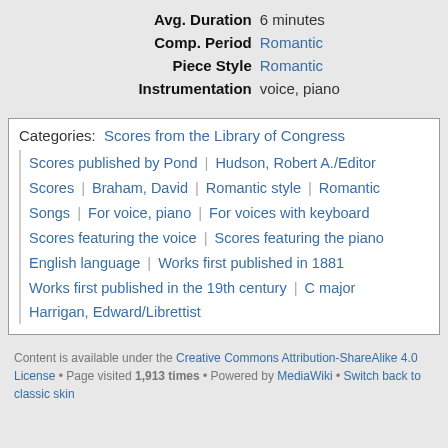| Avg. Duration | 6 minutes |
| Comp. Period | Romantic |
| Piece Style | Romantic |
| Instrumentation | voice, piano |
Categories: Scores from the Library of Congress | Scores published by Pond | Hudson, Robert A./Editor | Scores | Braham, David | Romantic style | Romantic | Songs | For voice, piano | For voices with keyboard | Scores featuring the voice | Scores featuring the piano | English language | Works first published in 1881 | Works first published in the 19th century | C major | Harrigan, Edward/Librettist
Content is available under the Creative Commons Attribution-ShareAlike 4.0 License • Page visited 1,913 times • Powered by MediaWiki • Switch back to classic skin